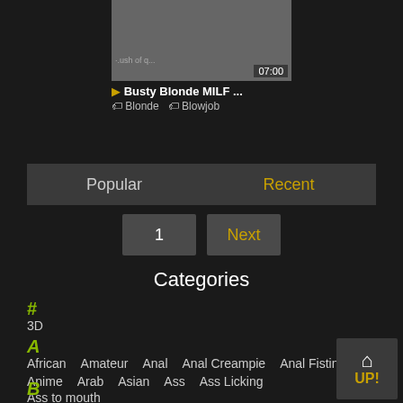[Figure (screenshot): Thumbnail of a video titled 'Busty Blonde MILF ...' with duration 07:00, tagged Blonde and Blowjob]
Busty Blonde MILF ...
Blonde  Blowjob
Popular  Recent
1  Next
Categories
#
3D
A
African  Amateur  Anal  Anal Creampie  Anal Fisting
Anime  Arab  Asian  Ass  Ass Licking
Ass to mouth
B